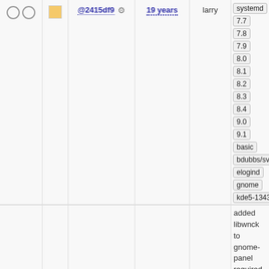| checks | color | hash | age | author | tags |
| --- | --- | --- | --- | --- | --- |
| ○ ○ | ■ | @2415df9 ⚙ | 19 years | larry | systemd 7.7 7.8 7.9 8.0 8.1 8.2 8.3 8.4 9.0 9.1 basic bdubbs/svn elogind gnome kde5-13430 kde5-14269 kde5-14686 krejzi/svn lazarus nosym perl-modules qt5new systemd-11177 systemd-13485 trunk upgradedb v5_1 v5_1-pre1 xry111/intltool xry111/test-20220226 |
|  |  |  |  |  | added libwnck to gnome-panel required dependencies g... svn-id: … 10.0 10.1 11.0 11.1 11.2 6.0 6.1 6.2 6.2.0 6.2.0-rc1 6.2.0-rc2 6.2.0-rc3 6.3-rc1 6.3-rc2 6.3-rc3 7.10 |